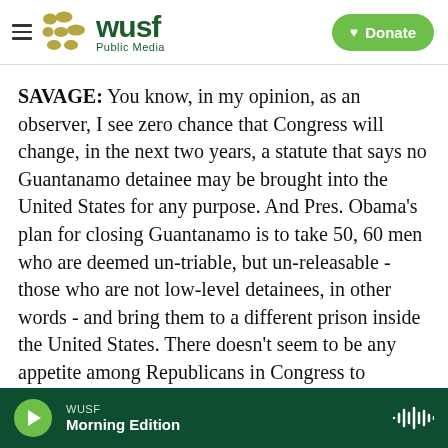[Figure (logo): WUSF Public Media header with hamburger menu, circular logo marks in gold/olive, WUSF wordmark in dark green, and a green Donate button with heart icon]
SAVAGE: You know, in my opinion, as an observer, I see zero chance that Congress will change, in the next two years, a statute that says no Guantanamo detainee may be brought into the United States for any purpose. And Pres. Obama's plan for closing Guantanamo is to take 50, 60 men who are deemed un-triable, but un-releasable - those who are not low-level detainees, in other words - and bring them to a different prison inside the United States. There doesn't seem to be any appetite among Republicans in Congress to facilitate that policy. And so absent some extraordinary assertion
WUSF  Morning Edition